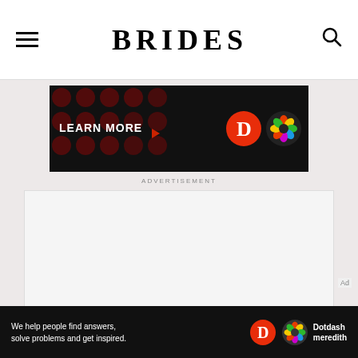BRIDES
[Figure (screenshot): LEARN MORE advertisement banner with dark background, red dots pattern on left, red circle with D logo and colorful geometric flower logo on right]
ADVERTISEMENT
[Figure (screenshot): Empty white/light gray advertisement placeholder box]
[Figure (screenshot): Bottom banner: We help people find answers, solve problems and get inspired. Dotdash meredith logo]